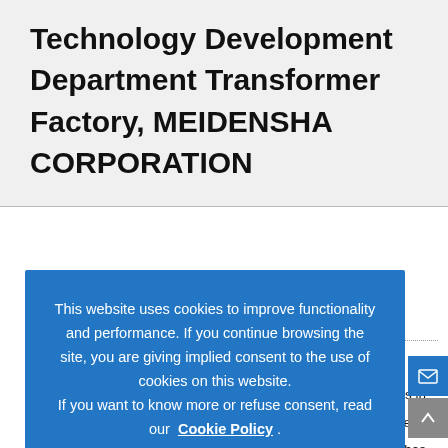Technology Development Department Transformer Factory, MEIDENSHA CORPORATION
This website uses cookies to improve functionality and performance. If you continue browsing the site, you are giving implied consent to the use of cookies on this website. If you want to know more or refuse consent, read our Cookie Policy . Accept
districts in ansformers. ation noise) has ction of iron material and machin deformations as part of the efforts to move forward with noise